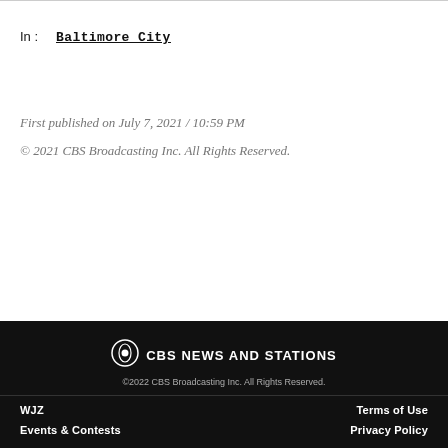In: Baltimore City
First published on July 7, 2021 / 10:59 PM
© 2021 CBS Broadcasting Inc. All Rights Reserved.
CBS NEWS AND STATIONS | ©2022 CBS Broadcasting Inc. All Rights Reserved. | WJZ | Terms of Use | Events & Contests | Privacy Policy